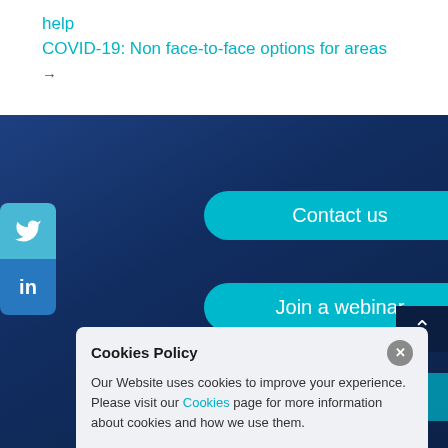help
COVID-19: Non face-to-face options for areas
→
[Figure (screenshot): Dark blue gradient background section with teal pill-shaped buttons and social media sidebar]
Contact us
Join a webinar
Join our mailing list
Cookies Policy
Our Website uses cookies to improve your experience. Please visit our Cookies page for more information about cookies and how we use them.